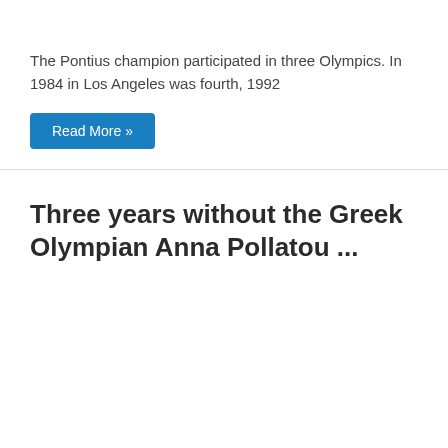The Pontius champion participated in three Olympics. In 1984 in Los Angeles was fourth, 1992
Read More »
Three years without the Greek Olympian Anna Pollatou ...